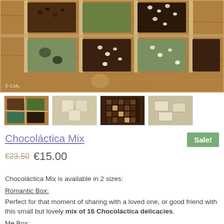[Figure (photo): Overhead photo of artisan chocolate pieces arranged in a wooden tray with compartments. Various chocolates with toppings visible. Copyright CML watermark in bottom left.]
[Figure (photo): Four thumbnail images of the product: wooden tray with chocolates, white chocolate squares, dark chocolate grid, and white/cream chocolate pieces.]
Chocoláctica Mix
Sale!
€23.50  €15.00
Chocoláctica Mix is available in 2 sizes:
Romantic Box:
Perfect for that moment of sharing with a loved one, or good friend with this small but lovely mix of 16 Chocoláctica delicacies.
Me Box:
Savour more than different flavours of Temptation, self...